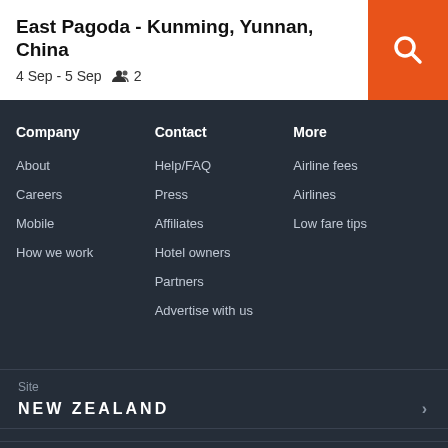East Pagoda - Kunming, Yunnan, China
4 Sep - 5 Sep   2
Company
About
Careers
Mobile
How we work
Contact
Help/FAQ
Press
Affiliates
Hotel owners
Partners
Advertise with us
More
Airline fees
Airlines
Low fare tips
Site
NEW ZEALAND